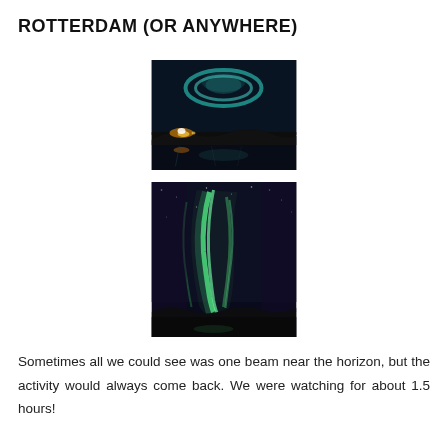ROTTERDAM (OR ANYWHERE)
[Figure (photo): Night sky photo showing aurora borealis (northern lights) over a dark landscape with town lights reflected in water, featuring teal/green light arcs in a deep blue-black sky]
[Figure (photo): Aurora borealis photo showing bright green vertical beams/curtains of northern lights against a dark purple-blue night sky with silhouetted hills at the bottom]
Sometimes all we could see was one beam near the horizon, but the activity would always come back. We were watching for about 1.5 hours!